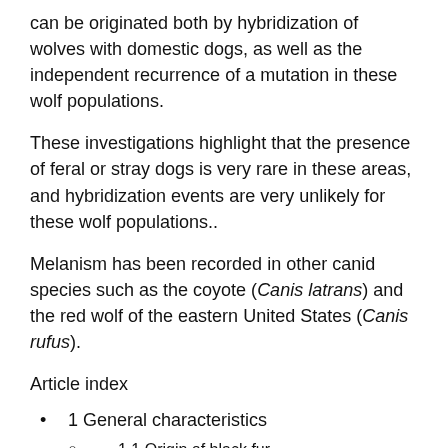can be originated both by hybridization of wolves with domestic dogs, as well as the independent recurrence of a mutation in these wolf populations.
These investigations highlight that the presence of feral or stray dogs is very rare in these areas, and hybridization events are very unlikely for these wolf populations..
Melanism has been recorded in other canid species such as the coyote (Canis latrans) and the red wolf of the eastern United States (Canis rufus).
Article index
1 General characteristics
1.1 Origin of black fur
2 Taxonomy
3 Habitat and distribution
4 State of conservation